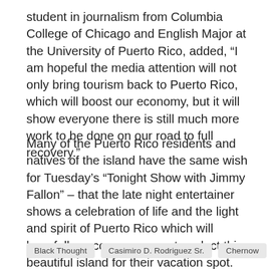student in journalism from Columbia College of Chicago and English Major at the University of Puerto Rico, added, “I am hopeful the media attention will not only bring tourism back to Puerto Rico, which will boost our economy, but it will show everyone there is still much more work to be done on our road to full recovery.”
Many of the Puerto Rico residents and natives of the island have the same wish for Tuesday’s “Tonight Show with Jimmy Fallon” – that the late night entertainer shows a celebration of life and the light and spirit of Puerto Rico which will hopefully encourage many to select this beautiful island for their vacation spot.
Black Thought   Casimiro D. Rodriguez Sr.   Chernow